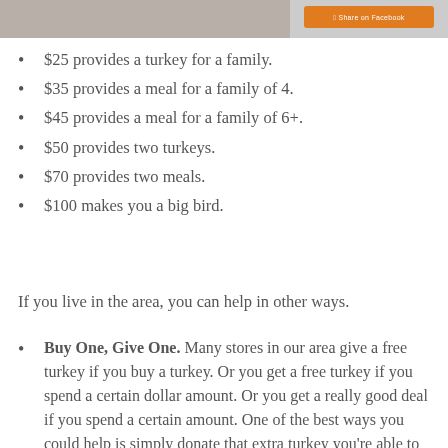[Figure (photo): Top portion of page showing a person holding something in a plaid shirt, partially cropped. An orange Facebook share button appears in the upper right.]
$25 provides a turkey for a family.
$35 provides a meal for a family of 4.
$45 provides a meal for a family of 6+.
$50 provides two turkeys.
$70 provides two meals.
$100 makes you a big bird.
If you live in the area, you can help in other ways.
Buy One, Give One. Many stores in our area give a free turkey if you buy a turkey. Or you get a free turkey if you spend a certain dollar amount. Or you get a really good deal if you spend a certain amount. One of the best ways you could help is simply donate that extra turkey you’re able to get when you’re doing your Thanksgiving grocery shopping.